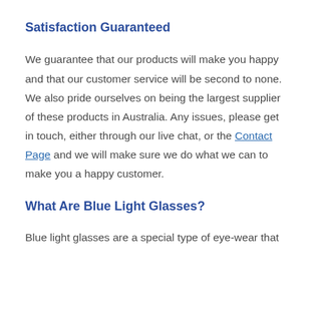Satisfaction Guaranteed
We guarantee that our products will make you happy and that our customer service will be second to none. We also pride ourselves on being the largest supplier of these products in Australia. Any issues, please get in touch, either through our live chat, or the Contact Page and we will make sure we do what we can to make you a happy customer.
What Are Blue Light Glasses?
Blue light glasses are a special type of eye-wear that